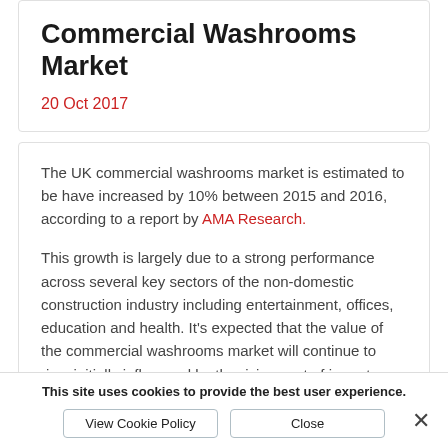Commercial Washrooms Market
20 Oct 2017
The UK commercial washrooms market is estimated to be have increased by 10% between 2015 and 2016, according to a report by AMA Research.
This growth is largely due to a strong performance across several key sectors of the non-domestic construction industry including entertainment, offices, education and health. It's expected that the value of the commercial washrooms market will continue to rise, initially influenced by the rising cost of imports, given the
This site uses cookies to provide the best user experience.